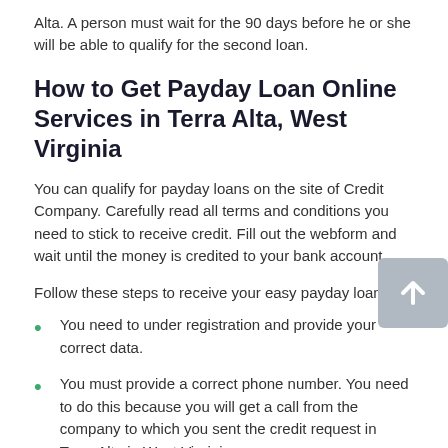Alta. A person must wait for the 90 days before he or she will be able to qualify for the second loan.
How to Get Payday Loan Online Services in Terra Alta, West Virginia
You can qualify for payday loans on the site of Credit Company. Carefully read all terms and conditions you need to stick to receive credit. Fill out the webform and wait until the money is credited to your bank account.
Follow these steps to receive your easy payday loans:
You need to under registration and provide your correct data.
You must provide a correct phone number. You need to do this because you will get a call from the company to which you sent the credit request in Terra Alta in West Virginia.